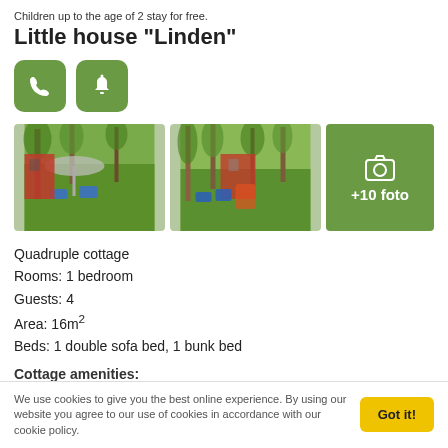Children up to the age of 2 stay for free.
Little house "Linden"
[Figure (screenshot): Two green buttons: a phone icon button and a bell/notification icon button]
[Figure (photo): Three-panel photo strip: two outdoor photos of a red cottage with trees and blue chairs in a green garden setting, plus a green panel showing '+10 foto' with a camera icon]
Quadruple cottage
Rooms: 1 bedroom
Guests: 4
Area: 16m²
Beds: 1 double sofa bed, 1 bunk bed
Cottage amenities:
We use cookies to give you the best online experience. By using our website you agree to our use of cookies in accordance with our cookie policy.